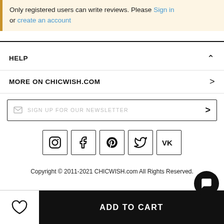Only registered users can write reviews. Please Sign in or create an account
HELP
MORE ON CHICWISH.COM
SIGN UP FOR OUR NEWSLETTER
[Figure (other): Social media icons: Instagram, Facebook, Pinterest, Twitter, VK]
Copyright © 2011-2021 CHICWISH.com All Rights Reserved.
ADD TO CART